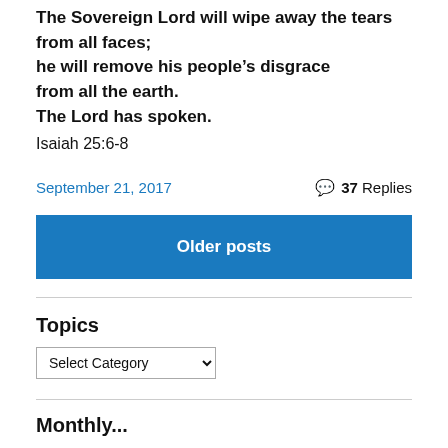The Sovereign Lord will wipe away the tears from all faces; he will remove his people's disgrace from all the earth. The Lord has spoken.
Isaiah 25:6-8
September 21, 2017
37 Replies
Older posts
Topics
Select Category
Monthly...